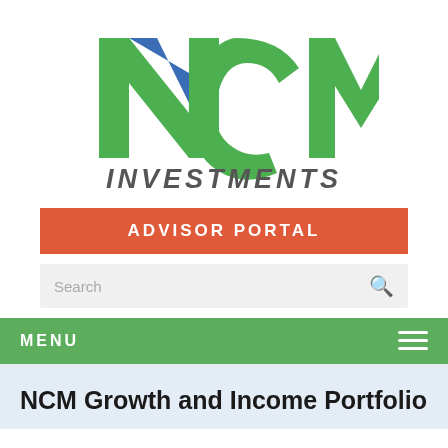[Figure (logo): NCM Investments logo — large green stylized N, C, M letters with a blue diagonal stripe on the N, and 'INVESTMENTS' in dark grey italic capitals below]
ADVISOR PORTAL
Search
MENU
NCM Growth and Income Portfolio